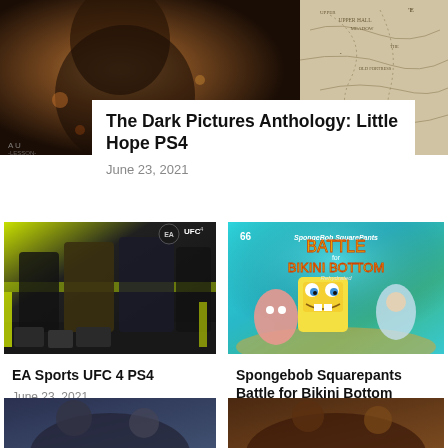[Figure (photo): Dark cinematic photo of person on left, old map on right — hero banner for The Dark Pictures Anthology: Little Hope PS4]
The Dark Pictures Anthology: Little Hope PS4
June 23, 2021
[Figure (photo): EA Sports UFC 4 promotional image with fighters and yellow-green background]
EA Sports UFC 4 PS4
June 23, 2021
[Figure (photo): Spongebob Squarepants Battle for Bikini Bottom Rehydrated game cover art with Spongebob, Patrick and Sandy]
Spongebob Squarepants Battle for Bikini Bottom Rehydrated PS4
June 23, 2021
[Figure (photo): Bottom left preview image — partially visible]
[Figure (photo): Bottom right preview image — partially visible]